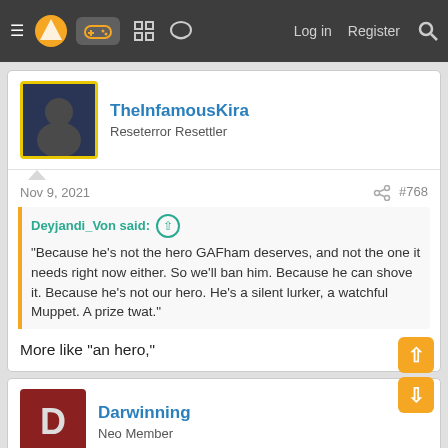Navigation bar with menu, logo, gamepad icon, forum icons, Log in, Register, Search
TheInfamousKira
Reseterror Resettler
Nov 9, 2021   #768
Deyjandi_Von said: ⊕
"Because he's not the hero GAFham deserves, and not the one it needs right now either. So we'll ban him. Because he can shove it. Because he's not our hero. He's a silent lurker, a watchful Muppet. A prize twat."
More like "an hero,"
Darwinning
Neo Member